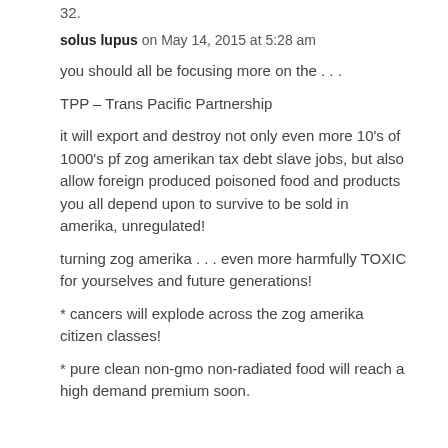32.
solus lupus on May 14, 2015 at 5:28 am
you should all be focusing more on the . . .
TPP – Trans Pacific Partnership
it will export and destroy not only even more 10's of 1000's pf zog amerikan tax debt slave jobs, but also allow foreign produced poisoned food and products you all depend upon to survive to be sold in amerika, unregulated!
turning zog amerika . . . even more harmfully TOXIC for yourselves and future generations!
* cancers will explode across the zog amerika citizen classes!
* pure clean non-gmo non-radiated food will reach a high demand premium soon.